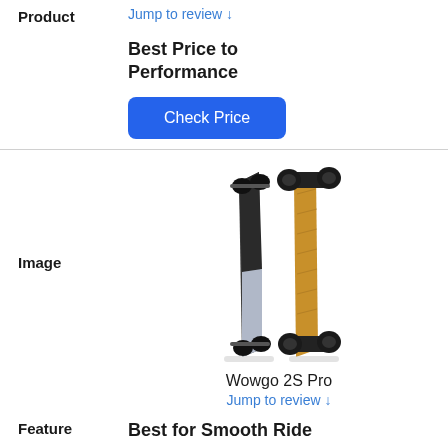Product
Jump to review ↓
Feature
Best Price to Performance
Check Price
Image
[Figure (photo): Two electric skateboards side by side — one dark/grey and one wood-toned with hub motors visible]
Product
Wowgo 2S Pro
Jump to review ↓
Feature
Best for Smooth Ride